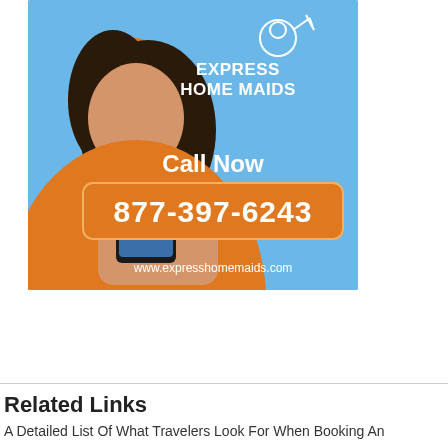[Figure (photo): Advertisement for Express Home Maids. A smiling woman wearing an orange sweater and orange headband looks down at a phone. Blue background. Text: EXPRESS HOME MAIDS, Call Now, 877-397-6243, www.expresshomemaids.com]
Related Links
A Detailed List Of What Travelers Look For When Booking An